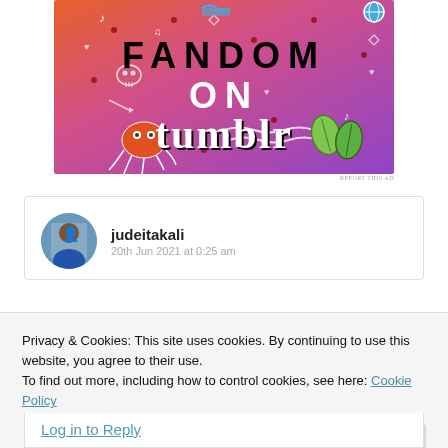[Figure (illustration): Colorful Tumblr 'Fandom on Tumblr' promotional banner with orange-to-purple gradient background, doodle icons (skull, octopus, leaves, music notes, hearts, arrows), and bold text reading 'FANDOM ON tumblr']
REPORT THIS AD
judeitakali
20th Jun 2021 at 0:25 am
Privacy & Cookies: This site uses cookies. By continuing to use this website, you agree to their use.
To find out more, including how to control cookies, see here: Cookie Policy
Close and accept
Log in to Reply